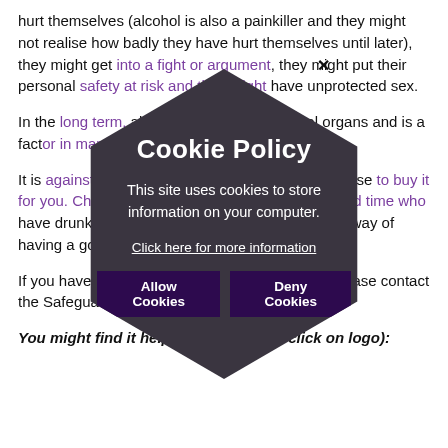hurt themselves (alcohol is also a painkiller and they might not realise how badly they have hurt themselves until later), they might get into a fight or argument, they might put their personal safety at risk and they might have unprotected sex.
In the long term, alcohol can damage internal organs and is a factor in many life-limiting illnesses.
It is against the law to buy alcohol or ask anyone else to buy it for you. Children will often see adults having a good time who have drunk alcohol and see this as an acceptable way of having a good time.
If you have any concerns about your child then please contact the Safeguarding Team.
You might find it helpful to visit (right click on logo):
[Figure (infographic): Cookie Policy modal overlay with hexagonal dark background. Contains title 'Cookie Policy', body text 'This site uses cookies to store information on your computer.', a 'Click here for more information' link, and two buttons: 'Allow Cookies' and 'Deny Cookies'.]